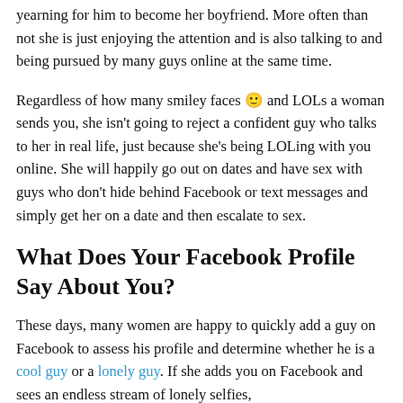yearning for him to become her boyfriend. More often than not she is just enjoying the attention and is also talking to and being pursued by many guys online at the same time.
Regardless of how many smiley faces 🙂 and LOLs a woman sends you, she isn't going to reject a confident guy who talks to her in real life, just because she's being LOLing with you online. She will happily go out on dates and have sex with guys who don't hide behind Facebook or text messages and simply get her on a date and then escalate to sex.
What Does Your Facebook Profile Say About You?
These days, many women are happy to quickly add a guy on Facebook to assess his profile and determine whether he is a cool guy or a lonely guy. If she adds you on Facebook and sees an endless stream of lonely selfies,